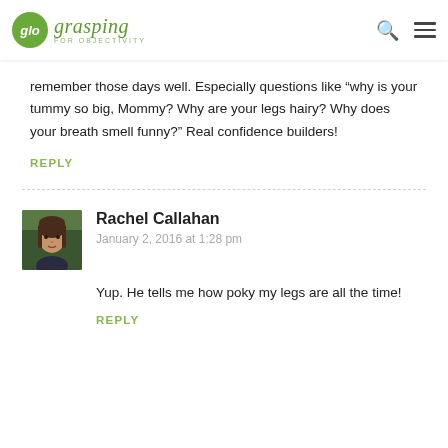glo grasping FOR OBJECTIVITY
remember those days well. Especially questions like “why is your tummy so big, Mommy? Why are your legs hairy? Why does your breath smell funny?” Real confidence builders!
REPLY
Rachel Callahan
January 2, 2016 at 1:28 pm
[Figure (photo): Profile photo of Rachel Callahan, a woman with long brown hair]
Yup. He tells me how poky my legs are all the time!
REPLY